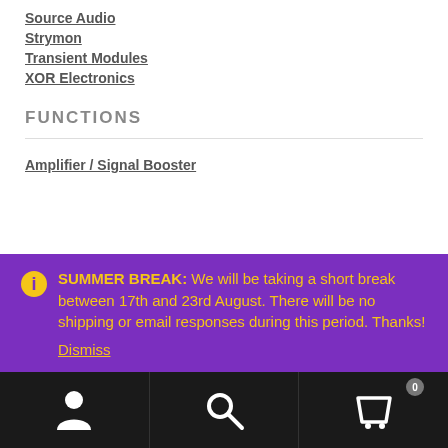Source Audio
Strymon
Transient Modules
XOR Electronics
FUNCTIONS
Amplifier / Signal Booster
SUMMER BREAK: We will be taking a short break between 17th and 23rd August. There will be no shipping or email responses during this period. Thanks! Dismiss